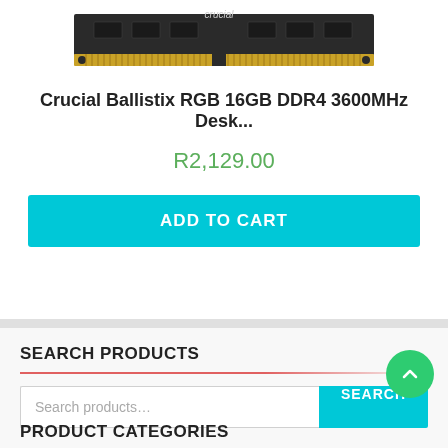[Figure (photo): Crucial Ballistix RGB DDR4 RAM stick viewed from above showing black PCB with gold contacts and Crucial branding]
Crucial Ballistix RGB 16GB DDR4 3600MHz Desk...
R2,129.00
ADD TO CART
SEARCH PRODUCTS
Search products...
SEARCH
PRODUCT CATEGORIES